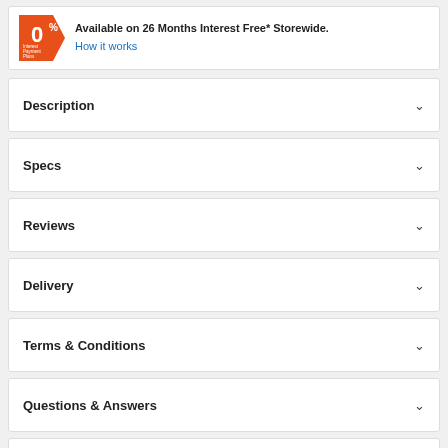[Figure (infographic): Orange 0% Interest Payment Plans badge with text: Available on 26 Months Interest Free* Storewide. How it works link.]
Description
Specs
Reviews
Delivery
Terms & Conditions
Questions & Answers
Product Care